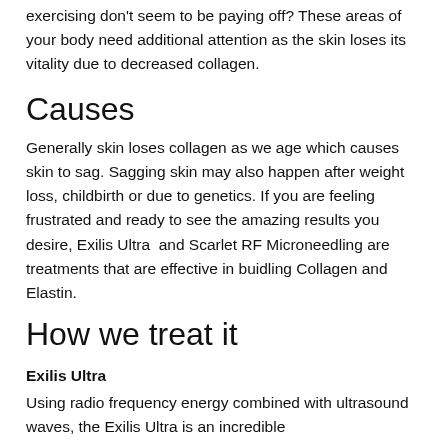exercising don't seem to be paying off?  These areas of your body need additional attention as the skin loses its vitality due to decreased collagen.
Causes
Generally skin loses collagen as we age which causes skin to sag. Sagging skin may also happen after weight loss, childbirth or due to genetics. If you are feeling frustrated and ready to see the amazing results you desire, Exilis Ultra  and Scarlet RF Microneedling are treatments that are effective in buidling Collagen and Elastin.
How we treat it
Exilis Ultra
Using radio frequency energy combined with ultrasound waves, the Exilis Ultra is an incredible